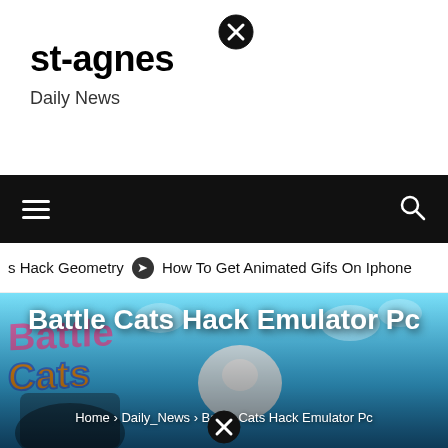st-agnes
Daily News
[Figure (screenshot): Navigation bar with hamburger menu on left and search icon on right, black background]
s Hack Geometry  ➡  How To Get Animated Gifs On Iphone
[Figure (photo): Battle Cats game promotional image with cartoon cats and colorful game logo on blue background. Title overlay: Battle Cats Hack Emulator Pc. Breadcrumb: Home > Daily_News > Battle Cats Hack Emulator Pc]
Battle Cats Hack Emulator Pc
Home › Daily_News › Battle Cats Hack Emulator Pc